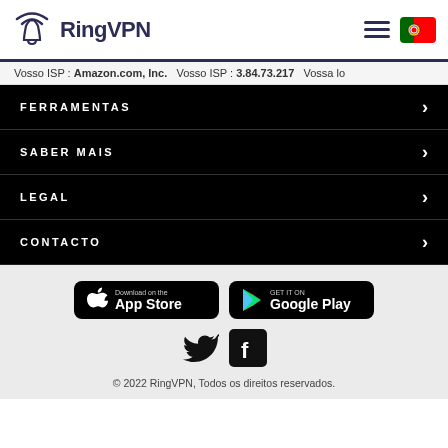RingVPN
Vosso ISP : Amazon.com, Inc.   Vosso ISP : 3.84.73.217   Vossa lo
FERRAMENTAS
SABER MAIS
LEGAL
CONTACTO
[Figure (logo): Download on the App Store button]
[Figure (logo): GET IT ON Google Play button]
[Figure (logo): Twitter and Facebook social media icons]
© 2022 RingVPN, Todos os direitos reservados.